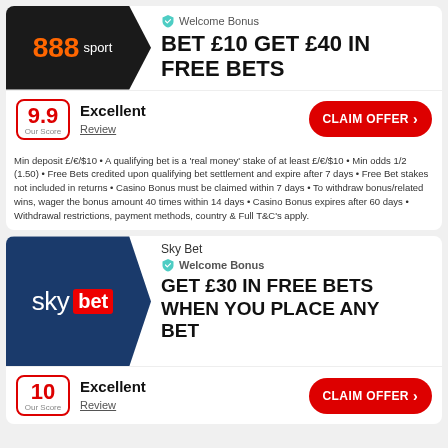[Figure (logo): 888sport logo on dark background with hexagon shape]
Welcome Bonus
BET £10 GET £40 IN FREE BETS
9.9 Our Score
Excellent
Review
CLAIM OFFER >
Min deposit £/€/$10 • A qualifying bet is a 'real money' stake of at least £/€/$10 • Min odds 1/2 (1.50) • Free Bets credited upon qualifying bet settlement and expire after 7 days • Free Bet stakes not included in returns • Casino Bonus must be claimed within 7 days • To withdraw bonus/related wins, wager the bonus amount 40 times within 14 days • Casino Bonus expires after 60 days • Withdrawal restrictions, payment methods, country & Full T&C's apply.
[Figure (logo): Sky Bet logo on dark navy background with hexagon shape]
Sky Bet
Welcome Bonus
GET £30 IN FREE BETS WHEN YOU PLACE ANY BET
10 Our Score
Excellent
Review
CLAIM OFFER >